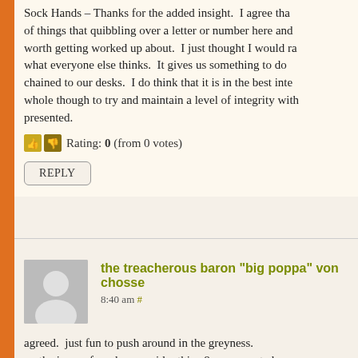Sock Hands – Thanks for the added insight.  I agree tha[t in the scheme] of things that quibbling over a letter or number here and [there isn't] worth getting worked up about.  I just thought I would ra[ise it and see] what everyone else thinks.  It gives us something to do [while we're] chained to our desks.  I do think that it is in the best inte[rest of the] whole though to try and maintain a level of integrity with [the data] presented.
Rating: 0 (from 0 votes)
REPLY
the treacherous baron "big poppa" von chosse[nbach]
8:40 am #
agreed.  just fun to push around in the greyness.
on the issue of grades, consider this:  8a commented m[ore]